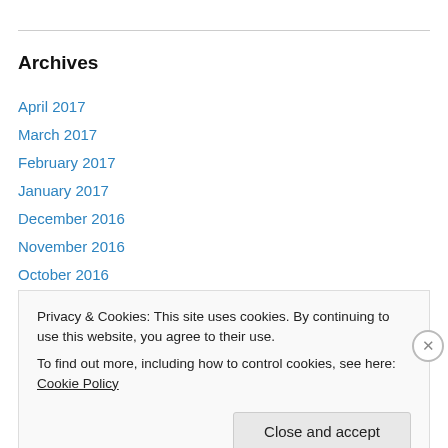Archives
April 2017
March 2017
February 2017
January 2017
December 2016
November 2016
October 2016
September 2016
August 2016
Privacy & Cookies: This site uses cookies. By continuing to use this website, you agree to their use.
To find out more, including how to control cookies, see here: Cookie Policy
Close and accept